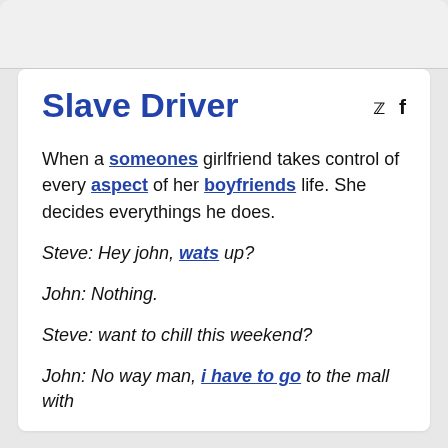Slave Driver
When a someones girlfriend takes control of every aspect of her boyfriends life. She decides everythings he does.
Steve: Hey john, wats up?
John: Nothing.
Steve: want to chill this weekend?
John: No way man, i have to go to the mall with